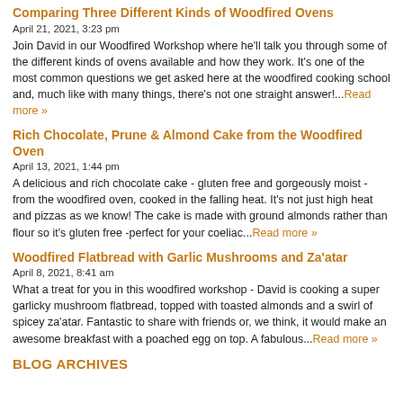Comparing Three Different Kinds of Woodfired Ovens
April 21, 2021, 3:23 pm
Join David in our Woodfired Workshop where he'll talk you through some of the different kinds of ovens available and how they work. It's one of the most common questions we get asked here at the woodfired cooking school and, much like with many things, there's not one straight answer!...Read more »
Rich Chocolate, Prune & Almond Cake from the Woodfired Oven
April 13, 2021, 1:44 pm
A delicious and rich chocolate cake - gluten free and gorgeously moist - from the woodfired oven, cooked in the falling heat. It's not just high heat and pizzas as we know! The cake is made with ground almonds rather than flour so it's gluten free -perfect for your coeliac...Read more »
Woodfired Flatbread with Garlic Mushrooms and Za'atar
April 8, 2021, 8:41 am
What a treat for you in this woodfired workshop - David is cooking a super garlicky mushroom flatbread, topped with toasted almonds and a swirl of spicey za'atar. Fantastic to share with friends or, we think, it would make an awesome breakfast with a poached egg on top. A fabulous...Read more »
BLOG ARCHIVES